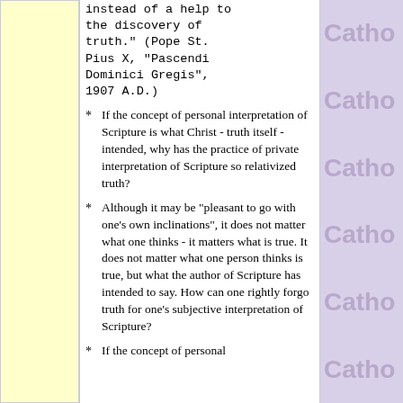instead of a help to the discovery of truth." (Pope St. Pius X, "Pascendi Dominici Gregis", 1907 A.D.)
* If the concept of personal interpretation of Scripture is what Christ - truth itself - intended, why has the practice of private interpretation of Scripture so relativized truth?
* Although it may be "pleasant to go with one's own inclinations", it does not matter what one thinks - it matters what is true. It does not matter what one person thinks is true, but what the author of Scripture has intended to say. How can one rightly forgo truth for one's subjective interpretation of Scripture?
* If the concept of personal